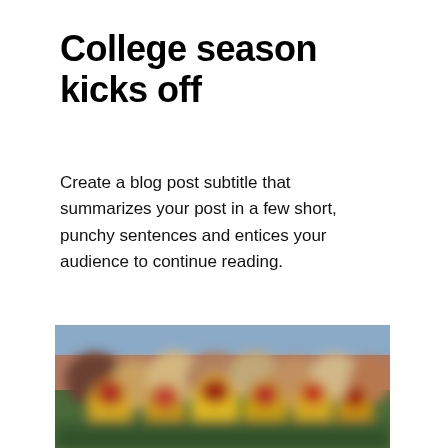College season kicks off
Create a blog post subtitle that summarizes your post in a few short, punchy sentences and entices your audience to continue reading.
[Figure (photo): Blurred/out-of-focus photograph of college football players on a field, wearing yellow/gold uniforms, with a crowd visible in the background.]